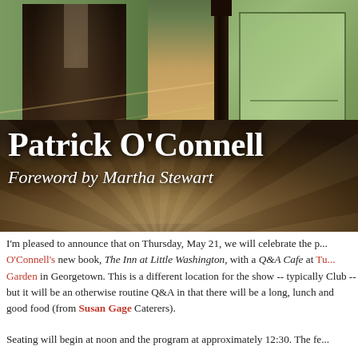[Figure (photo): Interior hallway of The Inn at Little Washington with ornate mosaic tile floor in the foreground featuring a starburst/sunburst pattern. Green decorative walls and doors visible, dark wooden column on right side.]
Patrick O'Connell
Foreword by Martha Stewart
I'm pleased to announce that on Thursday, May 21, we will celebrate the p... O'Connell's new book, The Inn at Little Washington, with a Q&A Cafe at Tu... Garden in Georgetown. This is a different location for the show -- typically Club -- but it will be an otherwise routine Q&A in that there will be a long, lunch and good food (from Susan Gage Caterers).
Seating will begin at noon and the program at approximately 12:30. The fe...